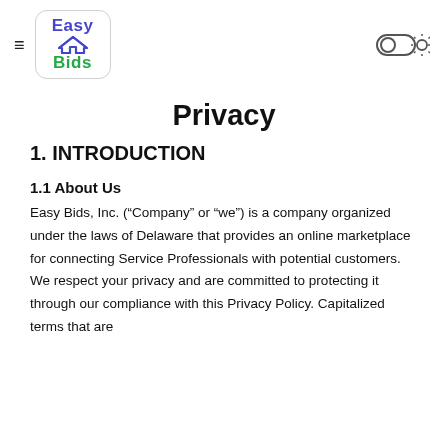Easy Bids — navigation header with logo and toggle
Privacy
1. INTRODUCTION
1.1 About Us
Easy Bids, Inc. (“Company” or “we”) is a company organized under the laws of Delaware that provides an online marketplace for connecting Service Professionals with potential customers. We respect your privacy and are committed to protecting it through our compliance with this Privacy Policy. Capitalized terms that are